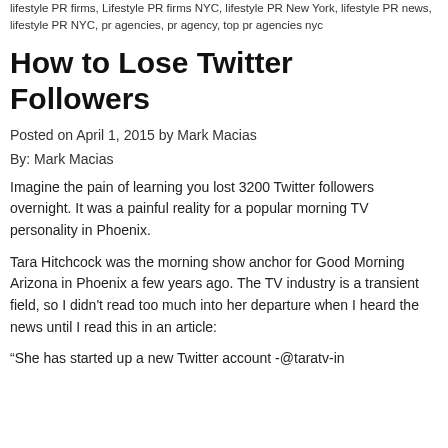lifestyle PR firms, Lifestyle PR firms NYC, lifestyle PR New York, lifestyle PR news, lifestyle PR NYC, pr agencies, pr agency, top pr agencies nyc
How to Lose Twitter Followers
Posted on April 1, 2015 by Mark Macias
By: Mark Macias
Imagine the pain of learning you lost 3200 Twitter followers overnight. It was a painful reality for a popular morning TV personality in Phoenix.
Tara Hitchcock was the morning show anchor for Good Morning Arizona in Phoenix a few years ago. The TV industry is a transient field, so I didn't read too much into her departure when I heard the news until I read this in an article:
“She has started up a new Twitter account -@taratv-in